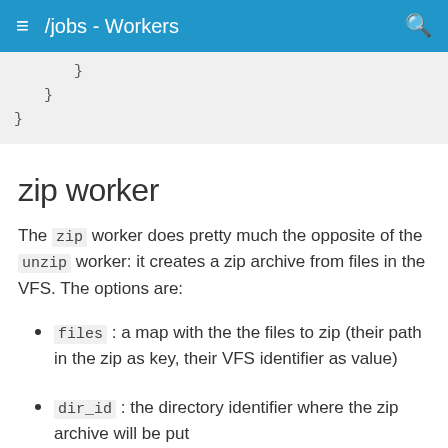/jobs - Workers
}
    }
}
zip worker
The zip worker does pretty much the opposite of the unzip worker: it creates a zip archive from files in the VFS. The options are:
files : a map with the the files to zip (their path in the zip as key, their VFS identifier as value)
dir_id : the directory identifier where the zip archive will be put
filename : the name of the zip archive.